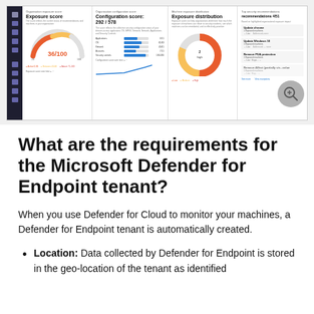[Figure (screenshot): Screenshot of Microsoft Defender for Endpoint dashboard showing Exposure score (36/100), Configuration score (292/578), Exposure distribution donut chart, and security recommendations panel (4/51) with items like Update Chrome, Update Windows 10, Remove PUA protection, and Remove Affect...]
What are the requirements for the Microsoft Defender for Endpoint tenant?
When you use Defender for Cloud to monitor your machines, a Defender for Endpoint tenant is automatically created.
Location: Data collected by Defender for Endpoint is stored in the geo-location of the tenant as identified